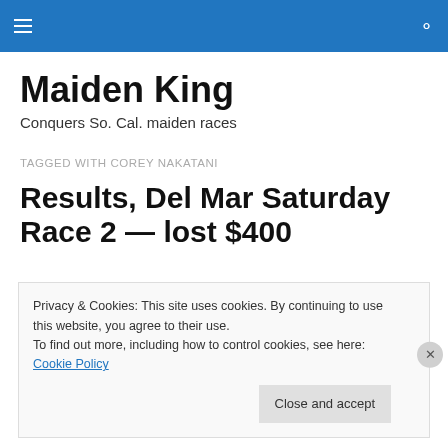Maiden King
Maiden King
Conquers So. Cal. maiden races
TAGGED WITH COREY NAKATANI
Results, Del Mar Saturday Race 2 — lost $400
Privacy & Cookies: This site uses cookies. By continuing to use this website, you agree to their use.
To find out more, including how to control cookies, see here: Cookie Policy
Close and accept